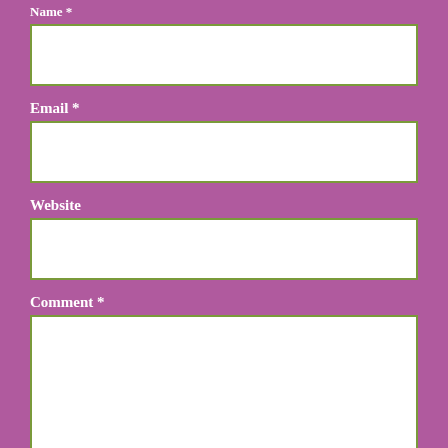Name *
[Figure (other): Empty text input field for Name]
Email *
[Figure (other): Empty text input field for Email]
Website
[Figure (other): Empty text input field for Website]
Comment *
[Figure (other): Empty textarea field for Comment]